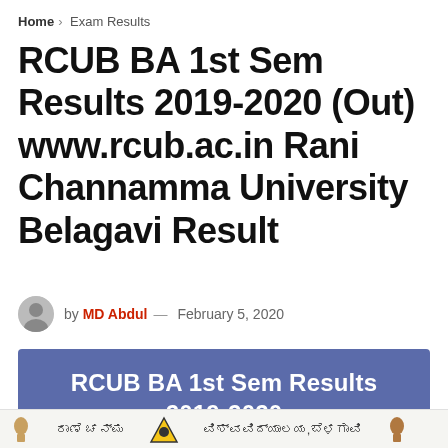Home > Exam Results
RCUB BA 1st Sem Results 2019-2020 (Out) www.rcub.ac.in Rani Channamma University Belagavi Result
by MD Abdul — February 5, 2020
[Figure (illustration): Banner image with purple/slate blue background showing text 'RCUB BA 1st Sem Results 2019-2020' in white bold font, with Kannada script icons and university logo at the bottom strip.]